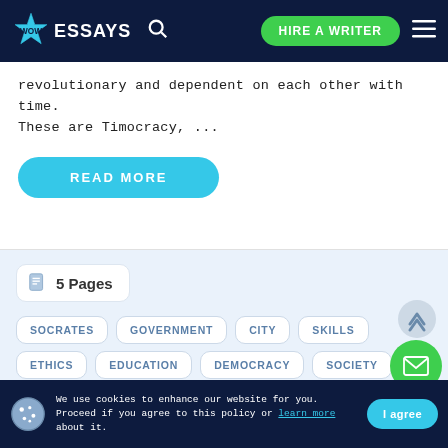WOW ESSAYS | HIRE A WRITER
revolutionary and dependent on each other with time. These are Timocracy, ...
READ MORE
5 Pages
SOCRATES
GOVERNMENT
CITY
SKILLS
ETHICS
EDUCATION
DEMOCRACY
SOCIETY
SYSTEM
REGIME
PEOPLE
RULING
We use cookies to enhance our website for you. Proceed if you agree to this policy or learn more about it. | I agree